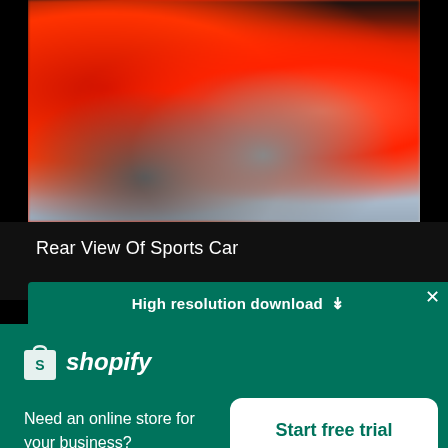[Figure (photo): Blurred rear view of a red Ferrari sports car, showing the rear wheel, body lines, and part of the background pavement, photographed from a low angle.]
Rear View Of Sports Car
High resolution download ↓
[Figure (logo): Shopify logo: white shopping bag icon with an S on it, followed by italic white text reading 'shopify']
Need an online store for your business?
Start free trial